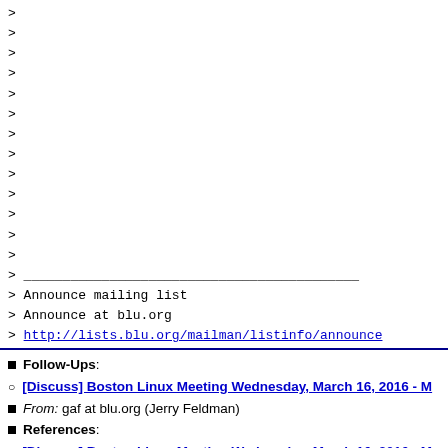>
>
>
>
>
>
>
>
>
>
>
>
>
>
___________________________________________
> Announce mailing list
> Announce at blu.org
> http://lists.blu.org/mailman/listinfo/announce
Follow-Ups:
[Discuss] Boston Linux Meeting Wednesday, March 16, 2016 -
From: gaf at blu.org (Jerry Feldman)
References:
[Discuss] Boston Linux Meeting Wednesday, March 16, 2016 -
From: gaf at blu.org (Jerry Feldman)
Prev by Date: [Discuss] Mail.com
Next by Date: [Discuss] free email less intrusive than google
Previous by thread: [Discuss] Boston Linux Meeting Wednesday,
Next by thread: [Discuss] Boston Linux Meeting Wednesday, Ma
Index(es):